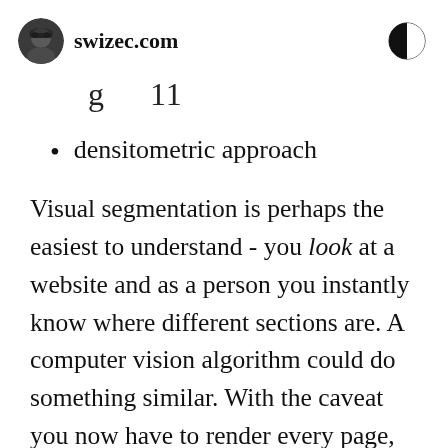swizec.com
g   11
densitometric approach
Visual segmentation is perhaps the easiest to understand - you look at a website and as a person you instantly know where different sections are. A computer vision algorithm could do something similar. With the caveat you now have to render every page, then run a visual learning algorithm and do a bunch of things that are computationally very expensive.